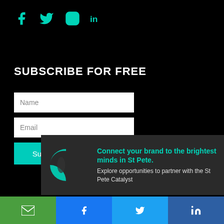[Figure (infographic): Social media icons row: Facebook, Twitter, Instagram, LinkedIn in teal/cyan color on black background]
SUBSCRIBE FOR FREE
[Figure (infographic): Subscription form with Name field, Email field, and Subscribe button in teal]
[Figure (infographic): Ad banner: St Pete Catalyst logo with text 'Connect your brand to the brightest minds in St Pete. Explore opportunities to partner with the St Pete Catalyst']
[Figure (infographic): Share bar with four buttons: Email (green), Facebook (blue), Twitter (light blue), LinkedIn (dark blue)]